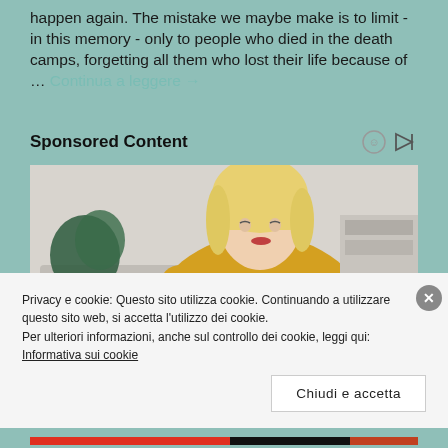happen again. The mistake we maybe make is to limit - in this memory - only to people who died in the death camps, forgetting all them who lost their life because of … Continua a leggere →
Sponsored Content
[Figure (photo): Photo of a blonde woman in a yellow knit sweater looking down at her arm, sitting in a living room with a plant in the background]
Privacy e cookie: Questo sito utilizza cookie. Continuando a utilizzare questo sito web, si accetta l'utilizzo dei cookie.
Per ulteriori informazioni, anche sul controllo dei cookie, leggi qui:
Informativa sui cookie